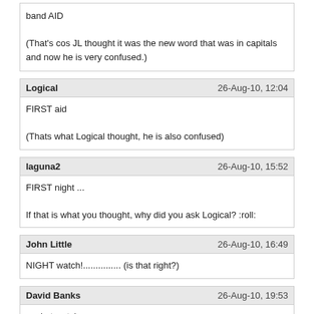band AID

(That's cos JL thought it was the new word that was in capitals and now he is very confused.)
Logical — 26-Aug-10, 12:04
FIRST aid

(Thats what Logical thought, he is also confused)
laguna2 — 26-Aug-10, 15:52
FIRST night ...

If that is what you thought, why did you ask Logical? :roll:
John Little — 26-Aug-10, 16:49
NIGHT watch!............... (is that right?)
David Banks — 26-Aug-10, 19:53
pocket watch
laguna2 — 26-Aug-10, 21:00
POCKET watch .....

don't really care JL :roll:
Logical — 27-Aug-10, 00:23